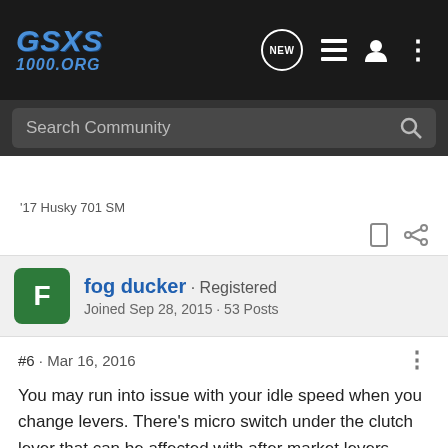[Figure (logo): GSXS 1000.ORG forum logo in blue italic text on dark background]
Search Community
'17 Husky 701 SM
fog ducker · Registered
Joined Sep 28, 2015 · 53 Posts
#6 · Mar 16, 2016
You may run into issue with your idle speed when you change levers. There's micro switch under the clutch lever that can be affected with after market levers.